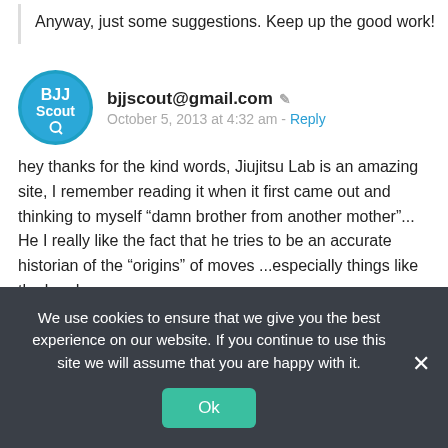Anyway, just some suggestions. Keep up the good work!
bjjscout@gmail.com
October 5, 2013 at 4:32 am - Reply
hey thanks for the kind words, Jiujitsu Lab is an amazing site, I remember reading it when it first came out and thinking to myself “damn brother from another mother”... He I really like the fact that he tries to be an accurate historian of the “origins” of moves ...especially things like the leg drag
Thanks for the suggestions, Umm Bernado... I want
We use cookies to ensure that we give you the best experience on our website. If you continue to use this site we will assume that you are happy with it.
Ok